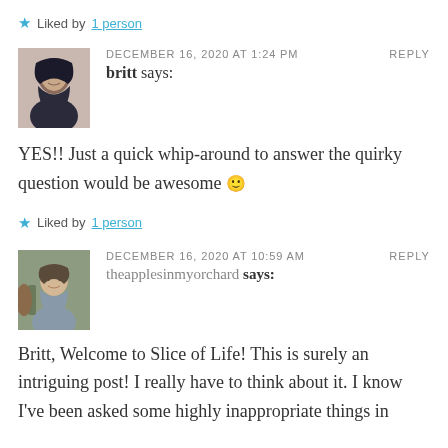★ Liked by 1 person
DECEMBER 16, 2020 AT 1:24 PM   REPLY
britt says:
YES!! Just a quick whip-around to answer the quirky question would be awesome 🙂
★ Liked by 1 person
DECEMBER 16, 2020 AT 10:59 AM   REPLY
theapplesinmyorchard says:
Britt, Welcome to Slice of Life! This is surely an intriguing post! I really have to think about it. I know I've been asked some highly inappropriate things in